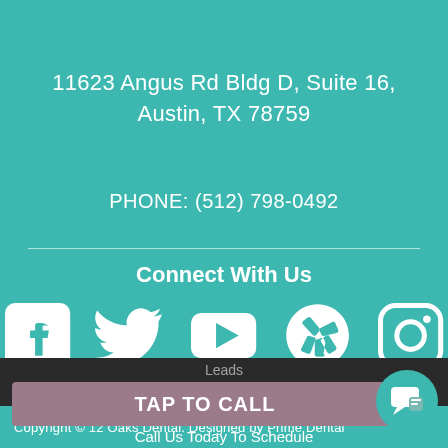11623 Angus Rd Bldg D, Suite 16, Austin, TX 78759
PHONE: (512) 798-0492
Connect With Us
[Figure (infographic): Social media icons: Facebook, Twitter, YouTube, Yelp, Instagram]
Copyright © 12 Oaks Dental. Designed by Prime Dental Leads
TAP TO CALL
Call Us Today To Schedule